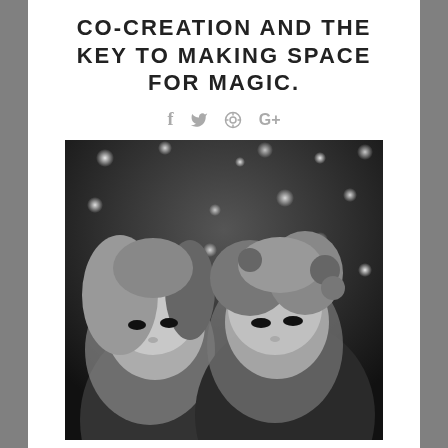CO-CREATION AND THE KEY TO MAKING SPACE FOR MAGIC.
f  ✓  ⊕  G+
[Figure (photo): Black and white photograph of two women with 1960s hairstyles, bokeh lights in background]